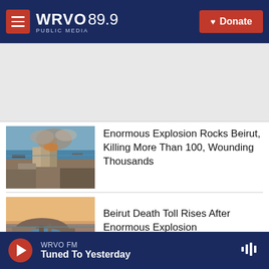WRVO PUBLIC MEDIA 89.9 | Donate
[Figure (screenshot): Aerial photo of Beirut explosion aftermath showing destroyed port area with smoke and debris]
Enormous Explosion Rocks Beirut, Killing More Than 100, Wounding Thousands
[Figure (photo): Aerial view of Beirut port destruction after explosion, showing damaged coastal infrastructure]
Beirut Death Toll Rises After Enormous Explosion
WRVO FM | Tuned To Yesterday